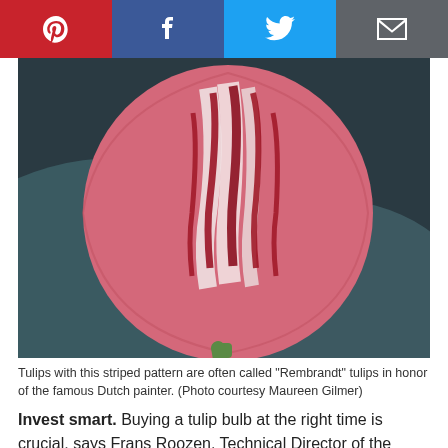[Figure (other): Social media sharing bar with Pinterest (red), Facebook (dark blue), Twitter (light blue), and Email (gray) buttons]
[Figure (photo): Close-up photograph of a red and white striped Rembrandt tulip against a dark background]
Tulips with this striped pattern are often called "Rembrandt" tulips in honor of the famous Dutch painter. (Photo courtesy Maureen Gilmer)
Invest smart. Buying a tulip bulb at the right time is crucial, says Frans Roozen, Technical Director of the International Flower Bulb Center in Hillegom, Holland.